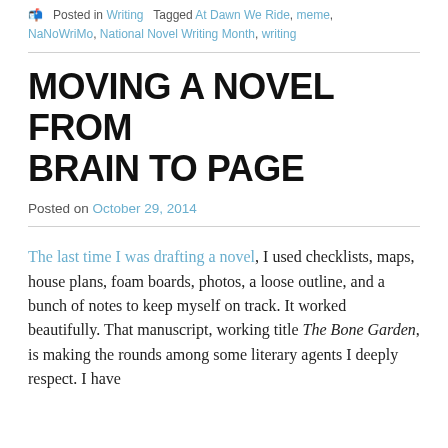Posted in Writing · Tagged At Dawn We Ride, meme, NaNoWriMo, National Novel Writing Month, writing
MOVING A NOVEL FROM BRAIN TO PAGE
Posted on October 29, 2014
The last time I was drafting a novel, I used checklists, maps, house plans, foam boards, photos, a loose outline, and a bunch of notes to keep myself on track. It worked beautifully. That manuscript, working title The Bone Garden, is making the rounds among some literary agents I deeply respect. I have